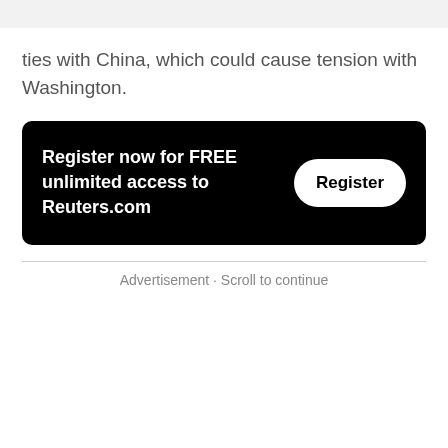ties with China, which could cause tension with Washington.
[Figure (other): Black rounded rectangle promotional banner reading 'Register now for FREE unlimited access to Reuters.com' with a white 'Register' button on the right]
Advertisement · Scroll to continue